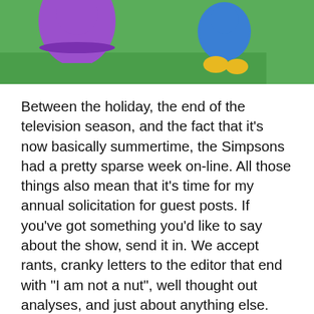[Figure (illustration): Cartoon illustration (Simpsons-style) showing characters on green grass background. A figure in purple clothing is visible on the left, and a blue cartoon character with yellow feet is visible on the right.]
Between the holiday, the end of the television season, and the fact that it's now basically summertime, the Simpsons had a pretty sparse week on-line.  All those things also mean that it's time for my annual solicitation for guest posts.  If you've got something you'd like to say about the show, send it in.  We accept rants, cranky letters to the editor that end with "I am not a nut", well thought out analyses, and just about anything else.  Pictures and images are welcome, and we'll be happy to link back to your Twitter account, blog, or what have you.  String a few sentences together, and a tiny slice of internet fame can be yours.  You're certainly welcome to send in something completed, but if all you've got is an idea, I'm happy to